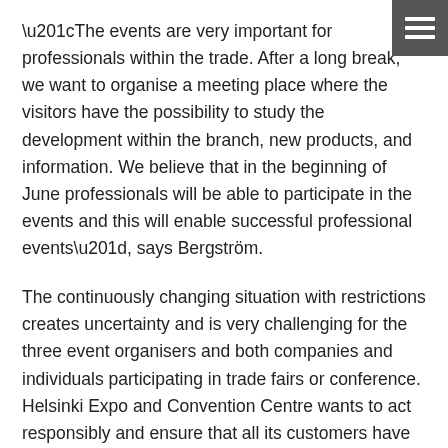“The events are very important for professionals within the trade. After a long break, we want to organise a meeting place where the visitors have the possibility to study the development within the branch, new products, and information. We believe that in the beginning of June professionals will be able to participate in the events and this will enable successful professional events”, says Bergström.
The continuously changing situation with restrictions creates uncertainty and is very challenging for the three event organisers and both companies and individuals participating in trade fairs or conference. Helsinki Expo and Convention Centre wants to act responsibly and ensure that all its customers have the possibility to fully prepare for the fair and thus secure a commercial success and health-safe participation.
More information: